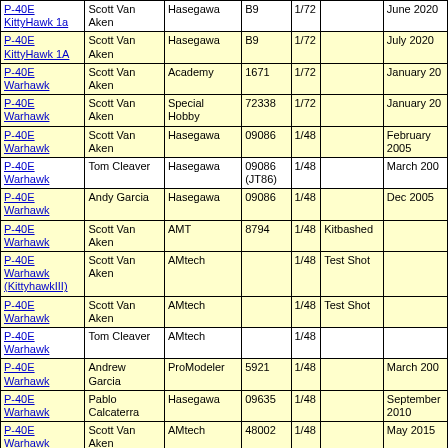| Model | Builder | Manufacturer | Kit # | Scale | Notes | Date |
| --- | --- | --- | --- | --- | --- | --- |
| P-40E KittyHawk 1a | Scott Van Aken | Hasegawa | B9 | 1/72 |  | June 2020 |
| P-40E KittyHawk 1A | Scott Van Aken | Hasegawa | B9 | 1/72 |  | July 2020 |
| P-40E Warhawk | Scott Van Aken | Academy | 1671 | 1/72 |  | January 20 |
| P-40E Warhawk | Scott Van Aken | Special Hobby | 72338 | 1/72 |  | January 20 |
| P-40E Warhawk | Scott Van Aken | Hasegawa | 09086 | 1/48 |  | February 2005 |
| P-40E Warhawk | Tom Cleaver | Hasegawa | 09086 (JT86) | 1/48 |  | March 200 |
| P-40E Warhawk | Andy Garcia | Hasegawa | 09086 | 1/48 |  | Dec 2005 |
| P-40E Warhawk | Scott Van Aken | AMT | 8794 | 1/48 | Kitbashed |  |
| P-40E Warhawk (KittyhawkIII) | Scott Van Aken | AMtech |  | 1/48 | Test Shot |  |
| P-40E Warhawk | Scott Van Aken | AMtech |  | 1/48 | Test Shot |  |
| P-40E Warhawk | Tom Cleaver | AMtech |  | 1/48 |  |  |
| P-40E Warhawk | Andrew Garcia | ProModeler | 5921 | 1/48 |  | March 200 |
| P-40E Warhawk | Pablo Calcaterra | Hasegawa | 09635 | 1/48 |  | September 2010 |
| P-40E Warhawk | Scott Van Aken | AMtech | 48002 | 1/48 |  | May 2015 |
| P-40E Warhawk | Tom Cleaver | Hasegawa | 52103 | 1/48 |  | June 2017 |
| P-40E Warhawk | Tom Cleaver | Hasegawa | 09086 | 1/32 |  | July 2008 |
| P-40E Aleutian Tiger | Tom Cleaver | Hasegawa | 08211 | 1/32 |  | August 20 |
| P-40E Kittyhawk I | Tom Cleaver | Hasegawa |  | 1/32 |  | December 2011 |
| P-40F Warhawk | Scott Van Aken | Hasegawa/DB | B 9 | 1/72 | Conversion |  |
| P-40F | Scott Van Aken | AMtech |  | 1/48 | Test Shot |  |